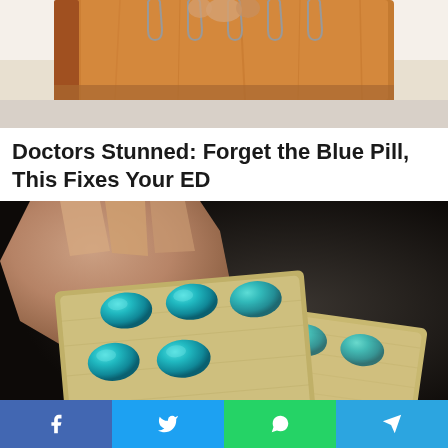[Figure (photo): A hand holding a brown leather-bound ring binder or notebook with metal wire rings, photographed against a light background]
Doctors Stunned: Forget the Blue Pill, This Fixes Your ED
[Figure (photo): A hand holding a blister pack of blue pills (resembling Viagra/sildenafil), with multiple turquoise-blue oval pills visible in a foil blister pack, against a dark background]
Social share bar with Facebook, Twitter, WhatsApp, and Telegram buttons